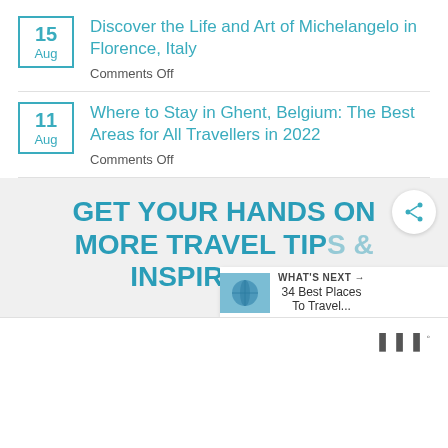15 Aug — Discover the Life and Art of Michelangelo in Florence, Italy — Comments Off
11 Aug — Where to Stay in Ghent, Belgium: The Best Areas for All Travellers in 2022 — Comments Off
GET YOUR HANDS ON MORE TRAVEL TIPS & INSPIRATION!
[Figure (screenshot): What's Next button with globe thumbnail and text '34 Best Places To Travel...' alongside a share button icon and a logo bar at the bottom.]